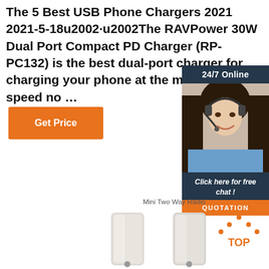The 5 Best USB Phone Chargers 2021 2021-5-18u2002·u2002The RAVPower 30W Dual Port Compact PD Charger (RP-PC132) is the best dual-port charger for charging your phone at the maximum speed no …
[Figure (other): Orange 'Get Price' button]
[Figure (other): Sidebar panel with '24/7 Online' header, customer service representative photo wearing headset, 'Click here for free chat!' text, and orange QUOTATION button on dark navy background]
Mini Two Way Radio
[Figure (photo): Two white mini two-way radio devices side by side]
[Figure (logo): Orange TOP logo with upward arrow dots above the text]